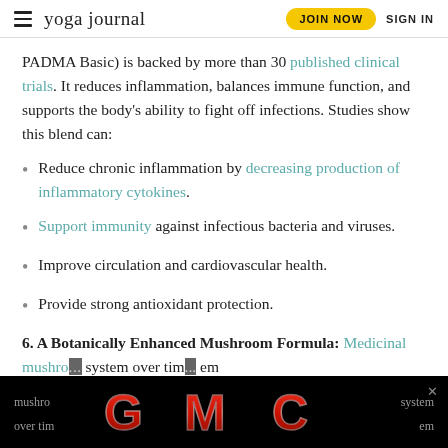yoga journal | JOIN NOW | SIGN IN
PADMA Basic) is backed by more than 30 published clinical trials. It reduces inflammation, balances immune function, and supports the body’s ability to fight off infections. Studies show this blend can:
Reduce chronic inflammation by decreasing production of inflammatory cytokines.
Support immunity against infectious bacteria and viruses.
Improve circulation and cardiovascular health.
Provide strong antioxidant protection.
6. A Botanically Enhanced Mushroom Formula: Medicinal mushrooms... system over time... em
[Figure (logo): GMC automotive logo on black background banner ad]